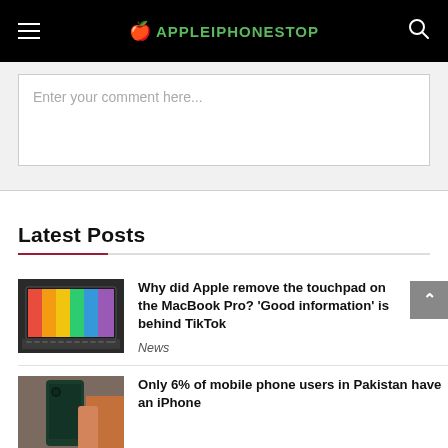APPLEIPHONESTOP
Enter your comment here...
Latest Posts
Why did Apple remove the touchpad on the MacBook Pro? 'Good information' is behind TikTok
News
Only 6% of mobile phone users in Pakistan have an iPhone